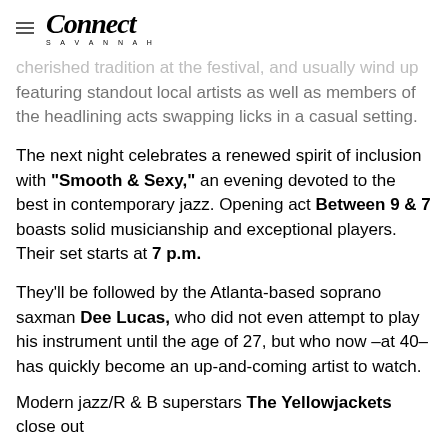Connect Savannah
cherished tradition at the festival, and usually wind up featuring standout local artists as well as members of the headlining acts swapping licks in a casual setting.
The next night celebrates a renewed spirit of inclusion with "Smooth & Sexy," an evening devoted to the best in contemporary jazz. Opening act Between 9 & 7 boasts solid musicianship and exceptional players. Their set starts at 7 p.m.
They'll be followed by the Atlanta-based soprano saxman Dee Lucas, who did not even attempt to play his instrument until the age of 27, but who now –at 40– has quickly become an up-and-coming artist to watch.
Modern jazz/R & B superstars The Yellowjackets close out